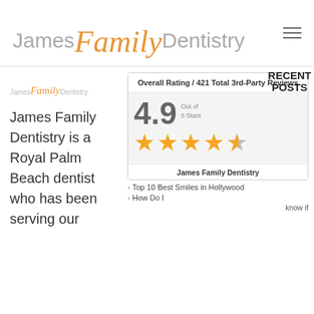[Figure (logo): James Family Dentistry logo with 'Family' in orange italic script and 'James' and 'Dentistry' in gray sans-serif]
[Figure (logo): Small James Family Dentistry logo in left column]
James Family Dentistry is a Royal Palm Beach dentist who has been serving our
[Figure (infographic): Rating card showing Overall Rating / 421 Total 3rd-Party Reviews, score of 4.9 out of 5 Stars, with 4.5 star display]
RECENT POSTS
> Top 10 Best Smiles in Hollywood
> How Do I
James Family Dentistry